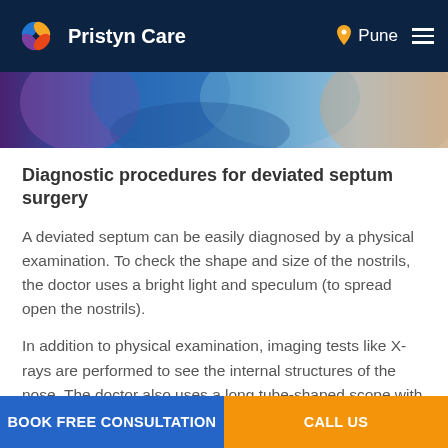Pristyn Care — Pune
[Figure (photo): Medical professionals in surgical attire, partial view of faces and shoulder area, blue and beige tones]
Diagnostic procedures for deviated septum surgery
A deviated septum can be easily diagnosed by a physical examination. To check the shape and size of the nostrils, the doctor uses a bright light and speculum (to spread open the nostrils).
In addition to physical examination, imaging tests like X-rays are performed to see the internal structures of the nose. The doctor also uses a long tube-shaped scope with a bright light at the tip to check the back of the nose. This
BOOK FREE CONSULTATION | CALL US